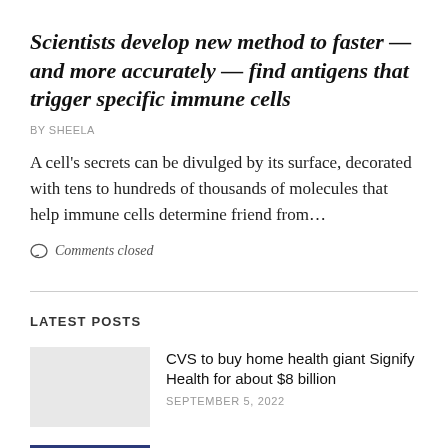Scientists develop new method to faster — and more accurately — find antigens that trigger specific immune cells
BY SHEELA
A cell's secrets can be divulged by its surface, decorated with tens to hundreds of thousands of molecules that help immune cells determine friend from…
Comments closed
LATEST POSTS
CVS to buy home health giant Signify Health for about $8 billion
SEPTEMBER 5, 2022
Climate anxiety an important driver for